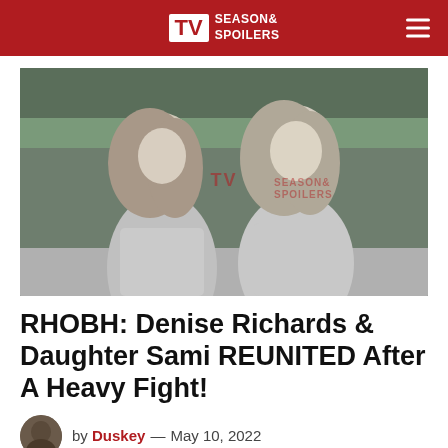TV Season & Spoilers
[Figure (photo): Black and white photo of two women with long blonde wavy hair, posed together outdoors with trees in background. TV Season & Spoilers watermark visible.]
RHOBH: Denise Richards & Daughter Sami REUNITED After A Heavy Fight!
by Duskey — May 10, 2022